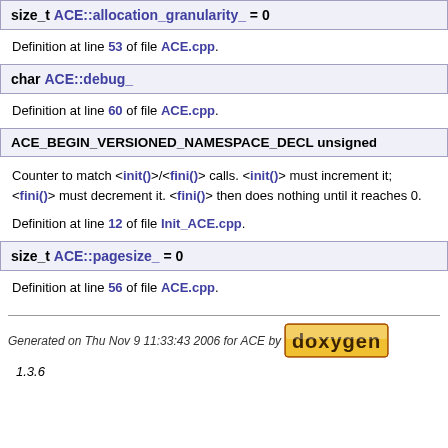size_t ACE::allocation_granularity_ = 0
Definition at line 53 of file ACE.cpp.
char ACE::debug_
Definition at line 60 of file ACE.cpp.
ACE_BEGIN_VERSIONED_NAMESPACE_DECL unsigned
Counter to match <init()>/<fini()> calls. <init()> must increment it; <fini()> must decrement it. <fini()> then does nothing until it reaches 0.
Definition at line 12 of file Init_ACE.cpp.
size_t ACE::pagesize_ = 0
Definition at line 56 of file ACE.cpp.
Generated on Thu Nov 9 11:33:43 2006 for ACE by doxygen 1.3.6